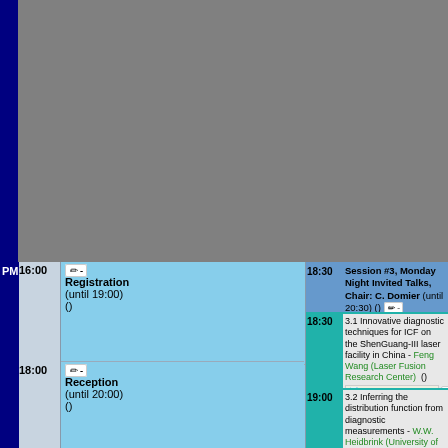[Figure (screenshot): Top half of conference schedule page showing gray placeholder area for earlier sessions]
| PM | Time | Event | Time | Session/Talk |
| --- | --- | --- | --- | --- |
| PM | 16:00 | Registration (until 19:00) () | 18:30 | Session #3, Monday Night Invited Talks, Chair: C. Domier (until 20:30) () |
|  | 18:00 | Reception (until 20:00) () | 18:30 | 3.1 Innovative diagnostic techniques for ICF on the ShenGuang-III laser facility in China - Feng Wang (Laser Fusion Research Center)  () [wang_HTPD2018.pdf] |
|  |  |  | 19:00 | 3.2 Inferring the distribution function from diagnostic measurements - W.W. Heidbrink (University of California, Irvine) B. Geiger (Max Planck Institute for Plasma Physics) A.S. Jacobsen (Max Planck Institute for Plasma Physics) Luke Stagner (University of California, Irvine) M. Weiland (Max Planck Institute for Plasma Physics) the DIII-D and ASDEX Upgrade Team  () [Stagner_3.2_20180416.pdf] |